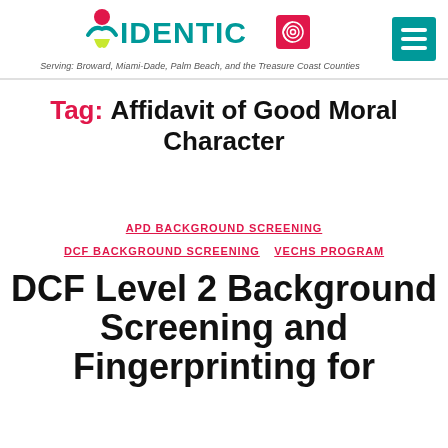[Figure (logo): IDENTICO logo with stylized person figure, fingerprint icon, teal and red branding, and hamburger menu button. Tagline: Serving: Broward, Miami-Dade, Palm Beach, and the Treasure Coast Counties]
Tag: Affidavit of Good Moral Character
APD BACKGROUND SCREENING   DCF BACKGROUND SCREENING   VECHS PROGRAM
DCF Level 2 Background Screening and Fingerprinting for